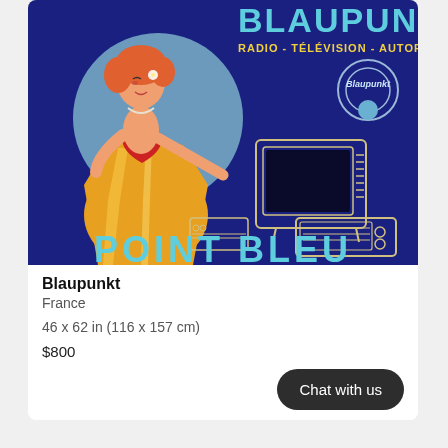[Figure (illustration): Vintage Blaupunkt advertisement poster. Dark navy/blue background. Top text: BLAUPUNKT in large teal/cyan letters. Below: RADIO - TÉLÉVISION - AUTORADIE in yellow. Left side: retro illustration of a woman in orange/yellow gown with red heart on bodice, red hair, standing in front of a light blue circle. Right side: Blaupunkt circular logo and outline drawings of a TV set and radio. Bottom: POINT BLEU in large teal letters.]
Blaupunkt
France
46 x 62 in (116 x 157 cm)
$800
Chat with us